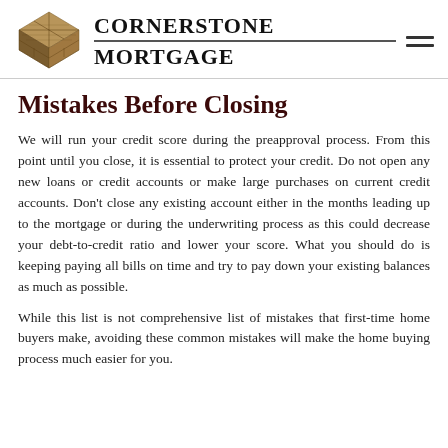[Figure (logo): Cornerstone Mortgage logo: a stone/brick diamond shape graphic on the left, with the text CORNERSTONE MORTGAGE in bold serif font, separated by a horizontal line, and a hamburger menu icon on the right.]
Mistakes Before Closing
We will run your credit score during the preapproval process. From this point until you close, it is essential to protect your credit. Do not open any new loans or credit accounts or make large purchases on current credit accounts. Don't close any existing account either in the months leading up to the mortgage or during the underwriting process as this could decrease your debt-to-credit ratio and lower your score. What you should do is keeping paying all bills on time and try to pay down your existing balances as much as possible.
While this list is not comprehensive list of mistakes that first-time home buyers make, avoiding these common mistakes will make the home buying process much easier for you.